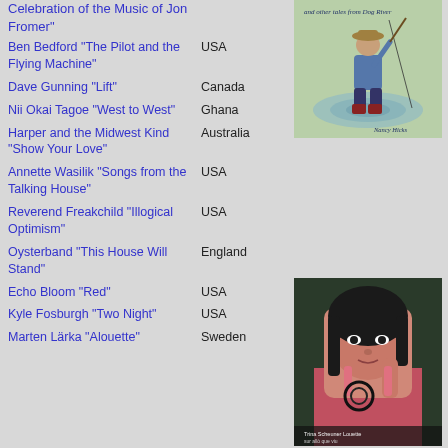Celebration of the Music of Jon Fromer"
Ben Bedford "The Pilot and the Flying Machine" — USA
Dave Gunning "Lift" — Canada
Nii Okai Tagoe "West to West" — Ghana
Harper and the Midwest Kind "Show Your Love" — Australia
Annette Wasilik "Songs from the Talking House" — USA
Reverend Freakchild "Illogical Optimism" — USA
Oysterband "This House Will Stand" — England
Echo Bloom "Red" — USA
Kyle Fosburgh "Two Night" — USA
Marten Lärka "Alouette" — Sweden
[Figure (illustration): Book cover illustration of a person in a hat fishing by a pond, with cursive text reading 'and other tales from Dog River' and 'Nancy Hicks']
[Figure (illustration): Album cover showing a painted portrait of a woman with dark hair holding something near her face, wearing a pink top, with text at the bottom reading 'Trina Scheuner Louette' and subtitle text]